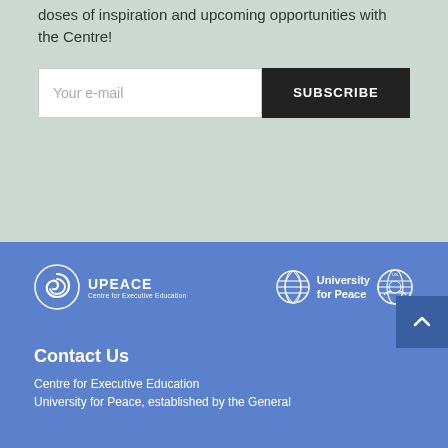doses of inspiration and upcoming opportunities with the Centre!
Your e-mail
SUBSCRIBE
[Figure (logo): UPEACE Centre for Executive Education logo — spiral swirl icon with text UPEACE and Centre for Executive Education]
[Figure (logo): University for Peace globe logo with text University for Peace, and UN emblem]
[Figure (other): Scroll-to-top button with upward chevron arrow]
Contact Us
Centre for Executive Education
University for Peace, established by the General